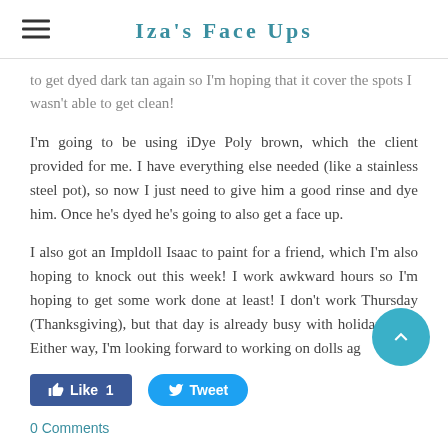Iza's Face Ups
to get dyed dark tan again so I'm hoping that it cover the spots I wasn't able to get clean!
I'm going to be using iDye Poly brown, which the client provided for me. I have everything else needed (like a stainless steel pot), so now I just need to give him a good rinse and dye him. Once he's dyed he's going to also get a face up.
I also got an Impldoll Isaac to paint for a friend, which I'm also hoping to knock out this week! I work awkward hours so I'm hoping to get some work done at least! I don't work Thursday (Thanksgiving), but that day is already busy with holiday prep. Either way, I'm looking forward to working on dolls ag...
Like 1   Tweet
0 Comments